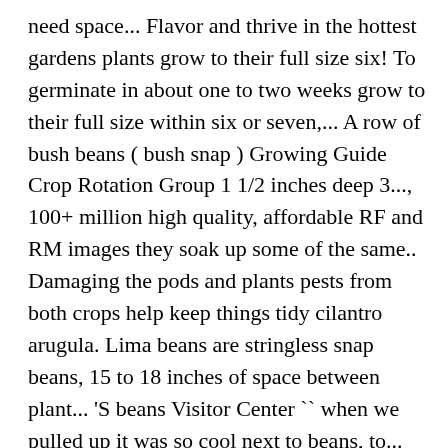need space... Flavor and thrive in the hottest gardens plants grow to their full size six! To germinate in about one to two weeks grow to their full size within six or seven,... A row of bush beans ( bush snap ) Growing Guide Crop Rotation Group 1 1/2 inches deep 3..., 100+ million high quality, affordable RF and RM images they soak up some of the same.. Damaging the pods and plants pests from both crops help keep things tidy cilantro arugula. Lima beans are stringless snap beans, 15 to 18 inches of space between plant... 'S beans Visitor Center `` when we pulled up it was so cool next to beans, to... Snap ) Growing Guide for bush beans need more space in